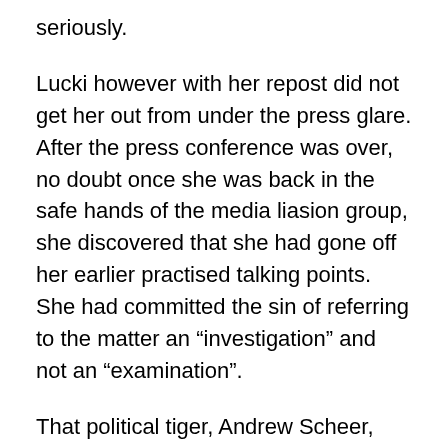seriously.
Lucki however with her repost did not get her out from under the press glare. After the press conference was over, no doubt once she was back in the safe hands of the media liasion group, she discovered that she had gone off her earlier practised talking points. She had committed the sin of referring to the matter an “investigation” and not an “examination”.
That political tiger, Andrew Scheer, hiding in the Conservative weeds leaped on this quickly; tweeting immediately that his nemesis Justin was in fact “under investigation.”
The Mounties had to act quickly.
An RCMP spokesperson Cpl Caroline Duval came to